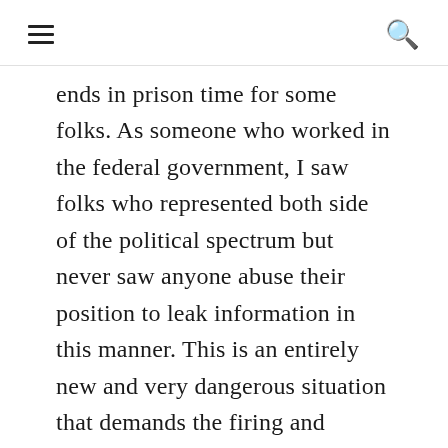[navigation bar with hamburger menu and search icon]
ends in prison time for some folks. As someone who worked in the federal government, I saw folks who represented both side of the political spectrum but never saw anyone abuse their position to leak information in this manner. This is an entirely new and very dangerous situation that demands the firing and imprisonment of abusers. If